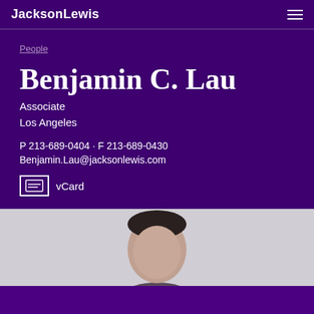JacksonLewis
People
Benjamin C. Lau
Associate
Los Angeles
P 213-689-0404 · F 213-689-0430
Benjamin.Lau@jacksonlewis.com
vCard
[Figure (photo): Portrait photo of Benjamin C. Lau, headshot against light gray background]